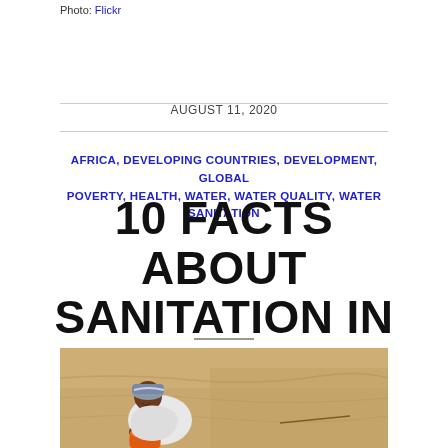Photo: Flickr
AUGUST 11, 2020
AFRICA, DEVELOPING COUNTRIES, DEVELOPMENT, GLOBAL POVERTY, HEALTH, WATER, WATER QUALITY, WATER SANITATION
10 FACTS ABOUT SANITATION IN AFRICA
[Figure (photo): A person crouching near an orange bucket on sandy ground, drinking or collecting water]